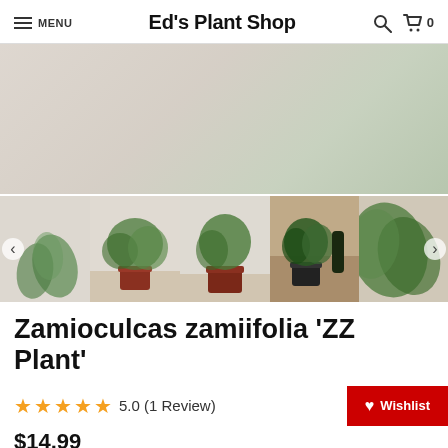MENU | Ed's Plant Shop | Search | Cart 0
[Figure (photo): Product image gallery showing ZZ Plant (Zamioculcas zamiifolia) in various pots — 5 thumbnail images with left/right navigation arrows. Images show the plant in terracotta/red pots and a black pot on a wooden surface.]
Zamioculcas zamiifolia 'ZZ Plant'
5.0 (1 Review)
$14.99